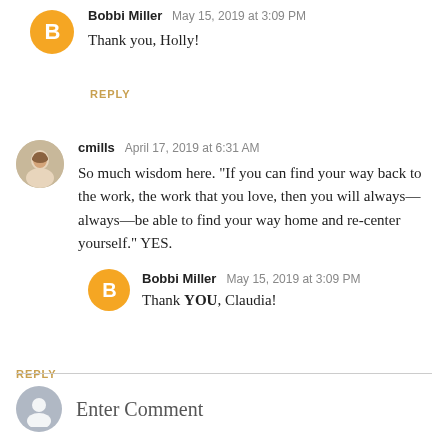Bobbi Miller  May 15, 2019 at 3:09 PM
Thank you, Holly!
REPLY
cmills  April 17, 2019 at 6:31 AM
So much wisdom here. "If you can find your way back to the work, the work that you love, then you will always—always—be able to find your way home and re-center yourself." YES.
Bobbi Miller  May 15, 2019 at 3:09 PM
Thank YOU, Claudia!
REPLY
Enter Comment